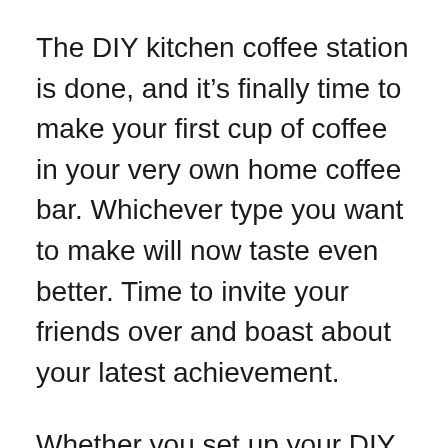The DIY kitchen coffee station is done, and it’s finally time to make your first cup of coffee in your very own home coffee bar. Whichever type you want to make will now taste even better. Time to invite your friends over and boast about your latest achievement.
Whether you set up your DIY coffee station in your home office, dining room, living room, or in your kitchen